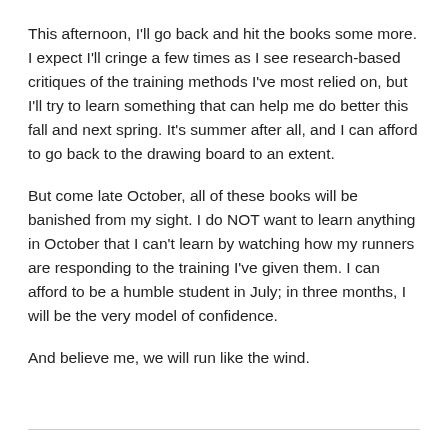This afternoon, I'll go back and hit the books some more. I expect I'll cringe a few times as I see research-based critiques of the training methods I've most relied on, but I'll try to learn something that can help me do better this fall and next spring. It's summer after all, and I can afford to go back to the drawing board to an extent.
But come late October, all of these books will be banished from my sight. I do NOT want to learn anything in October that I can't learn by watching how my runners are responding to the training I've given them. I can afford to be a humble student in July; in three months, I will be the very model of confidence.
And believe me, we will run like the wind.